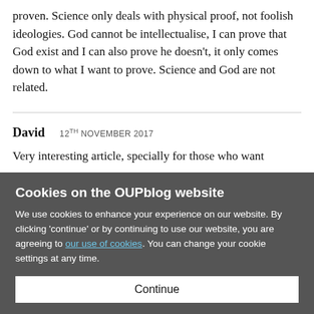proven. Science only deals with physical proof, not foolish ideologies. God cannot be intellectualise, I can prove that God exist and I can also prove he doesn't, it only comes down to what I want to prove. Science and God are not related.
David   12TH NOVEMBER 2017
Very interesting article, specially for those who want
Cookies on the OUPblog website
We use cookies to enhance your experience on our website. By clicking 'continue' or by continuing to use our website, you are agreeing to our use of cookies. You can change your cookie settings at any time.
Continue